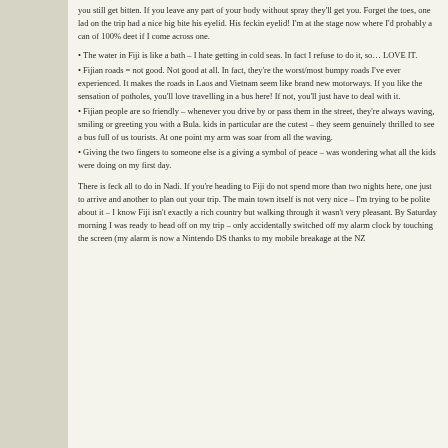you still get bitten. If you leave any part of your body without spray they'll get you. Forget the toes, one lad on the trip had a nice big bite his eyelid. His feckin eyelid! I'm at the stage now where I'd probably a can of 100% deet if I come across one.
• The water in Fiji is like a bath – I hate getting in cold seas. In fact I refuse to do it, so… LOVE IT.
• Fijian roads = not good. Not good at all. In fact, they're the worst/most bumpy roads I've ever experienced. It makes the roads in Laos and Vietnam seem like brand new motorways. If you like the sensation of potholes, you'll love travelling in a bus here! If not, you'll just have to deal with it.
• Fijian people are so friendly – whenever you drive by or pass them in the street, they're always waving, smiling or greeting you with a Bula. kids in particular are the cutest – they seem genuinely thrilled to see a bus full of us tourists. At one point my arm was soar from all the waving.
• Giving the two fingers to someone else is a giving a symbol of peace – was wondering what all the kids were doing on my first day.
There is feck all to do in Nadi. If you're heading to Fiji do not spend more than two nights here, one just to arrive and another to plan out your trip. The main town itself is not very nice – I'm trying to be polite about it – I know Fiji isn't exactly a rich country but walking through it wasn't very pleasant. By Saturday morning I was ready to head off on my trip – only accidentally switched off my alarm clock by touching the screen (my alarm is now a Nintendo DS thanks to my mobile breakage at the NZ